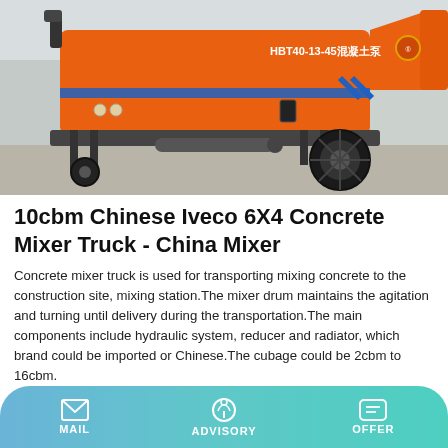[Figure (photo): Orange concrete pump truck (HBT40-13-45 混凝土泵) parked outdoors on a paved surface, showing the side profile with wheels, stabilizer legs, and the cylindrical pump body with blue stripe markings.]
10cbm Chinese Iveco 6X4 Concrete Mixer Truck - China Mixer
Concrete mixer truck is used for transporting mixing concrete to the construction site, mixing station.The mixer drum maintains the agitation and turning until delivery during the transportation.The main components include hydraulic system, reducer and radiator, which brand could be imported or Chinese.The cubage could be 2cbm to 16cbm.
Learn More
MAIL   ADVISORY   OFFER